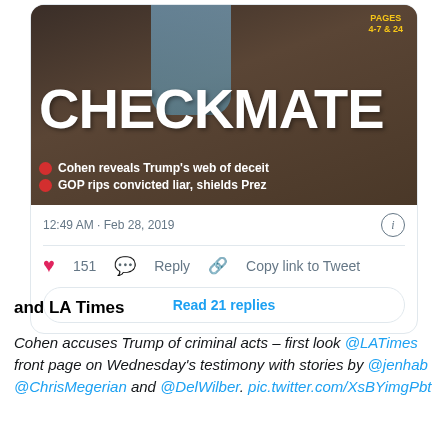[Figure (screenshot): Tweet card showing newspaper front page with headline CHECKMATE, bullets 'Cohen reveals Trump's web of deceit' and 'GOP rips convicted liar, shields Prez', with PAGES 4-7 & 24 badge. Tweet timestamp 12:49 AM · Feb 28, 2019, with 151 likes, Reply, Copy link to Tweet actions, and Read 21 replies button.]
and LA Times
Cohen accuses Trump of criminal acts – first look @LATimes front page on Wednesday's testimony with stories by @jenhab @ChrisMegerian and @DelWilber. pic.twitter.com/XsBYimgPbt